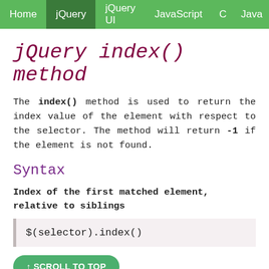Home  jQuery  jQuery UI  JavaScript  C  Java
jQuery index() method
The index() method is used to return the index value of the element with respect to the selector. The method will return -1 if the element is not found.
Syntax
Index of the first matched element, relative to siblings
↑ SCROLL TO TOP
assed to the index() method,